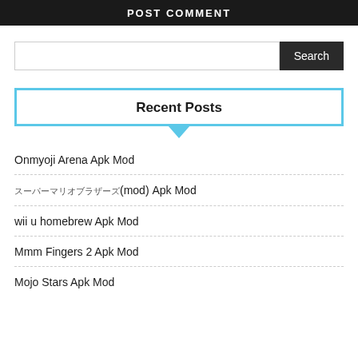POST COMMENT
[Figure (screenshot): Search bar with text input field and dark Search button]
Recent Posts
Onmyoji Arena Apk Mod
スーパーマリオブラザーズ(mod) Apk Mod
wii u homebrew Apk Mod
Mmm Fingers 2 Apk Mod
Mojo Stars Apk Mod